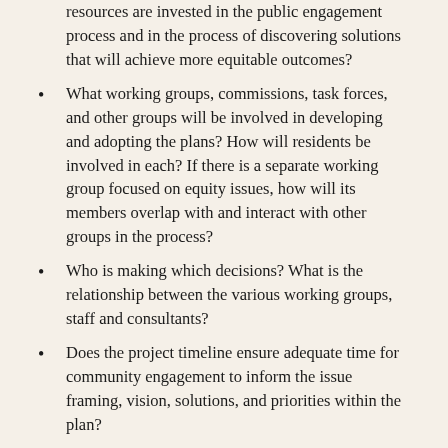resources are invested in the public engagement process and in the process of discovering solutions that will achieve more equitable outcomes?
What working groups, commissions, task forces, and other groups will be involved in developing and adopting the plans? How will residents be involved in each? If there is a separate working group focused on equity issues, how will its members overlap with and interact with other groups in the process?
Who is making which decisions? What is the relationship between the various working groups, staff and consultants?
Does the project timeline ensure adequate time for community engagement to inform the issue framing, vision, solutions, and priorities within the plan?